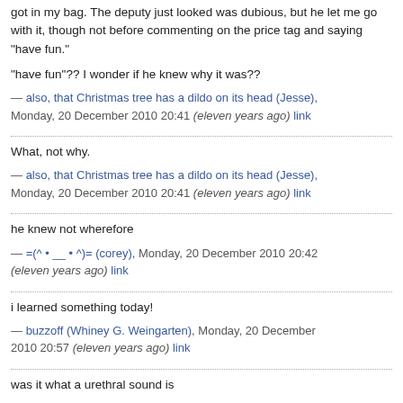got in my bag. The deputy just looked was dubious, but he let me go with it, though not before commenting on the price tag and saying "have fun."
"have fun"?? I wonder if he knew why it was??
— also, that Christmas tree has a dildo on its head (Jesse), Monday, 20 December 2010 20:41 (eleven years ago) link
What, not why.
— also, that Christmas tree has a dildo on its head (Jesse), Monday, 20 December 2010 20:41 (eleven years ago) link
he knew not wherefore
— =(^ • __ • ^)= (corey), Monday, 20 December 2010 20:42 (eleven years ago) link
i learned something today!
— buzzoff (Whiney G. Weingarten), Monday, 20 December 2010 20:57 (eleven years ago) link
was it what a urethral sound is